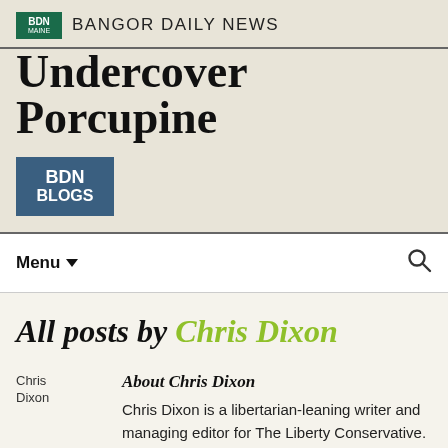BDN MAINE | BANGOR DAILY NEWS
Undercover Porcupine
[Figure (logo): BDN BLOGS logo in blue square]
Menu
All posts by Chris Dixon
[Figure (photo): Chris Dixon author photo placeholder]
About Chris Dixon
Chris Dixon is a libertarian-leaning writer and managing editor for The Liberty Conservative. In addition to his political